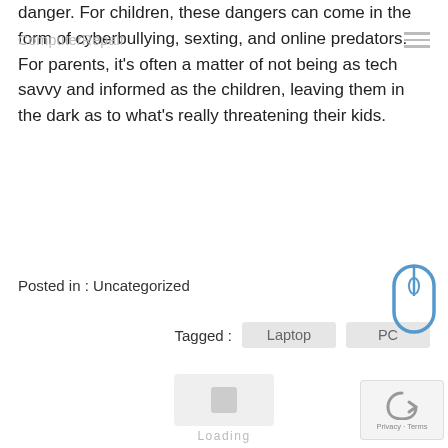ComputerRepair
danger. For children, these dangers can come in the form of cyberbullying, sexting, and online predators. For parents, it's often a matter of not being as tech savvy and informed as the children, leaving them in the dark as to what's really threatening their kids.
Posted in : Uncategorized
Tagged : Laptop PC
[Figure (other): Loading placeholder box with loading text]
Leave a Reply
Your email address will not be published. Required fields are marked *
Comment